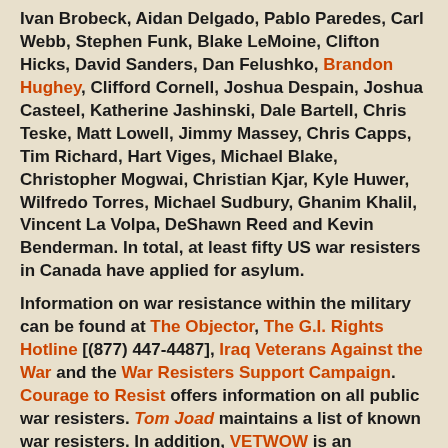Ivan Brobeck, Aidan Delgado, Pablo Paredes, Carl Webb, Stephen Funk, Blake LeMoine, Clifton Hicks, David Sanders, Dan Felushko, Brandon Hughey, Clifford Cornell, Joshua Despain, Joshua Casteel, Katherine Jashinski, Dale Bartell, Chris Teske, Matt Lowell, Jimmy Massey, Chris Capps, Tim Richard, Hart Viges, Michael Blake, Christopher Mogwai, Christian Kjar, Kyle Huwer, Wilfredo Torres, Michael Sudbury, Ghanim Khalil, Vincent La Volpa, DeShawn Reed and Kevin Benderman. In total, at least fifty US war resisters in Canada have applied for asylum.
Information on war resistance within the military can be found at The Objector, The G.I. Rights Hotline [(877) 447-4487], Iraq Veterans Against the War and the War Resisters Support Campaign. Courage to Resist offers information on all public war resisters. Tom Joad maintains a list of known war resisters. In addition, VETWOW is an organization that assists those suffering from MST (Military Sexual Trauma).
Meanwhile IVAW is organizing a March 2008 DC action: In 1971, over one hundred members of Vietnam